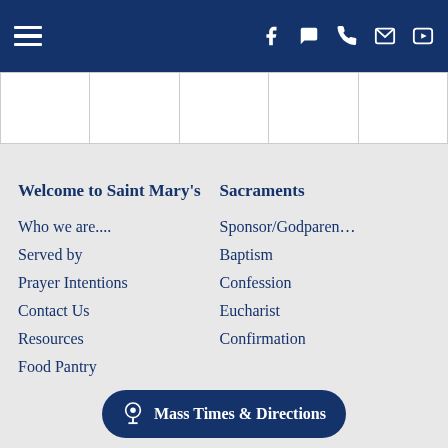Navigation bar with hamburger menu and social/contact icons: Facebook, chat, phone, email, YouTube
[Figure (other): Row of five image placeholder cells below the navigation bar]
Welcome to Saint Mary's
Who we are....
Served by
Prayer Intentions
Contact Us
Resources
Food Pantry
Sacraments
Sponsor/Godparen...
Baptism
Confession
Eucharist
Confirmation
Mass Times & Directions